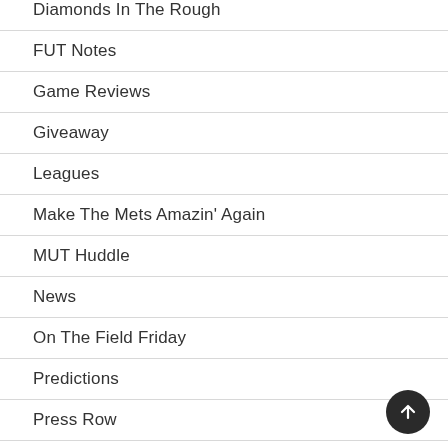Diamonds In The Rough
FUT Notes
Game Reviews
Giveaway
Leagues
Make The Mets Amazin' Again
MUT Huddle
News
On The Field Friday
Predictions
Press Row
Product Reviews
Random